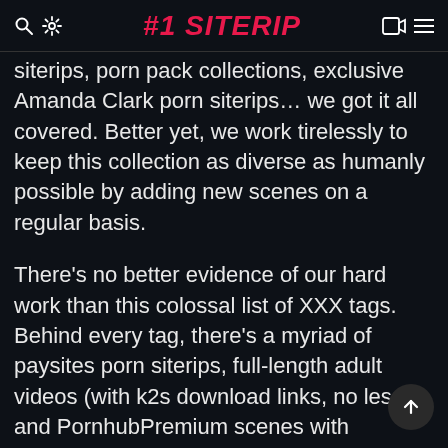#1 SITERIP
siterips, porn pack collections, exclusive Amanda Clark porn siterips… we got it all covered. Better yet, we work tirelessly to keep this collection as diverse as humanly possible by adding new scenes on a regular basis.
There's no better evidence of our hard work than this colossal list of XXX tags. Behind every tag, there's a myriad of paysites porn siterips, full-length adult videos (with k2s download links, no less), and PornhubPremium scenes with amateurs, for example. All the diversity here is sure to help you broaden your sexual horizons and help you appreciate differen pornographic subgenres and offshoots. With ou eclectic selection, you will be able to look deeper